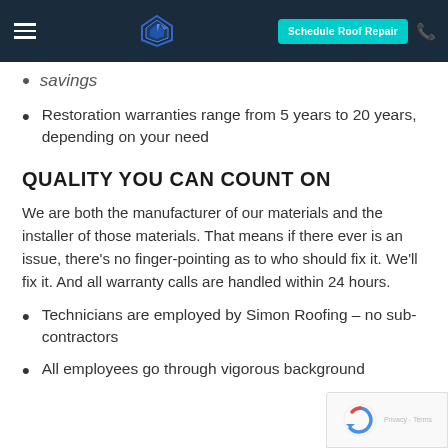Simon Roofing — Schedule Roof Repair
savings
Restoration warranties range from 5 years to 20 years, depending on your need
QUALITY YOU CAN COUNT ON
We are both the manufacturer of our materials and the installer of those materials. That means if there ever is an issue, there's no finger-pointing as to who should fix it. We'll fix it. And all warranty calls are handled within 24 hours.
Technicians are employed by Simon Roofing – no sub-contractors
All employees go through vigorous background